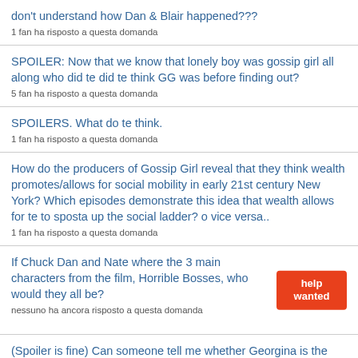don't understand how Dan & Blair happened???
1 fan ha risposto a questa domanda
SPOILER: Now that we know that lonely boy was gossip girl all along who did te did te think GG was before finding out?
5 fan ha risposto a questa domanda
SPOILERS. What do te think.
1 fan ha risposto a questa domanda
How do the producers of Gossip Girl reveal that they think wealth promotes/allows for social mobility in early 21st century New York? Which episodes demonstrate this idea that wealth allows for te to sposta up the social ladder? o vice versa..
1 fan ha risposto a questa domanda
If Chuck Dan and Nate where the 3 main characters from the film, Horrible Bosses, who would they all be?
nessuno ha ancora risposto a questa domanda
(Spoiler is fine) Can someone tell me whether Georgina is the real Gossip Girl?